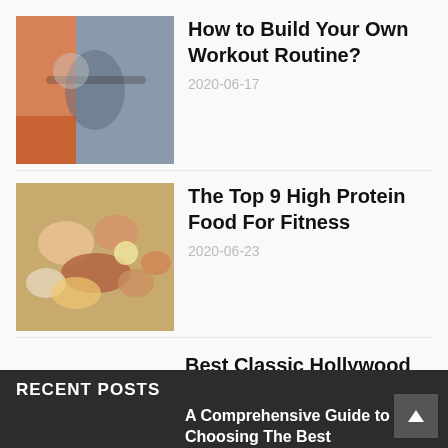[Figure (photo): Gym/workout photo with person lifting weights, orange and gray tones]
How to Build Your Own Workout Routine?
2020-06-17
[Figure (photo): High protein foods spread on table - meats, eggs, nuts, dairy]
The Top 9 High Protein Food For Fitness
2020-06-23
Best Classic Hollywood Movies of All the Times
2020-08-11
The Methods to Stretch after Exercise
2020-06-02
RECENT POSTS
A Comprehensive Guide to Choosing The Best